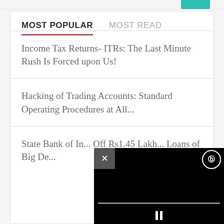MOST POPULAR
MOST READ
Income Tax Returns- ITRs: The Last Minute Rush Is Forced upon Us!
Hacking of Trading Accounts: Standard Operating Procedures at All...
State Bank of In... Off Rs1.45 Lakh... Loans of Big De...
[Figure (screenshot): Black video player overlay with close (X) button, circular icon button, progress bar, and pause button]